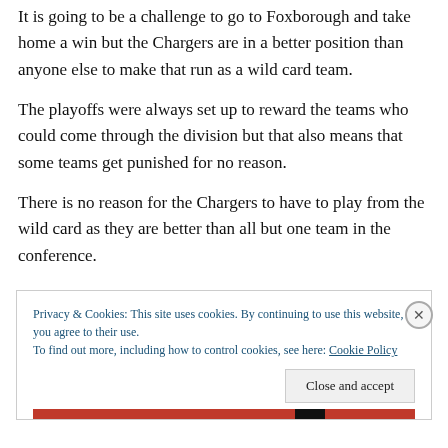It is going to be a challenge to go to Foxborough and take home a win but the Chargers are in a better position than anyone else to make that run as a wild card team.
The playoffs were always set up to reward the teams who could come through the division but that also means that some teams get punished for no reason.
There is no reason for the Chargers to have to play from the wild card as they are better than all but one team in the conference.
Privacy & Cookies: This site uses cookies. By continuing to use this website, you agree to their use.
To find out more, including how to control cookies, see here: Cookie Policy
Close and accept